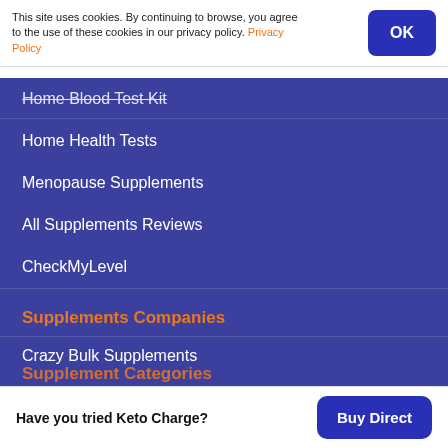This site uses cookies. By continuing to browse, you agree to the use of these cookies in our privacy policy. Privacy Policy
Home Blood Test Kit
Home Health Tests
Menopause Supplements
All Supplements Reviews
CheckMyLevel
Supplements Companies
Crazy Bulk Supplements
Roar Ambition Supplements
Brutal Force Supplements
Have you tried Keto Charge?  Buy Direct